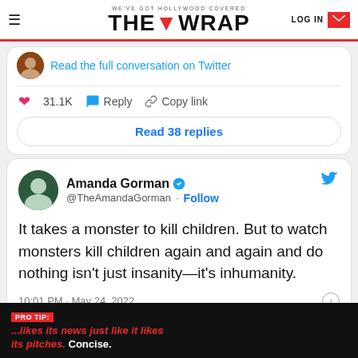WE'VE GOT HOLLYWOOD COVERED | THE WRAP | LOG IN
Read the full conversation on Twitter
31.1K  Reply  Copy link
Read 38 replies
Amanda Gorman @TheAmandaGorman · Follow
It takes a monster to kill children. But to watch monsters kill children again and again and do nothing isn't just insanity—it's inhumanity.
10:01 PM · May 24, 2022
663.4K  Reply  Copy link
PRO TIP: ...likes its news just like it likes its pitches. Concise.